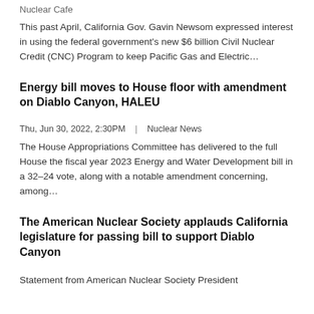Nuclear Cafe
This past April, California Gov. Gavin Newsom expressed interest in using the federal government's new $6 billion Civil Nuclear Credit (CNC) Program to keep Pacific Gas and Electric…
Energy bill moves to House floor with amendment on Diablo Canyon, HALEU
Thu, Jun 30, 2022, 2:30PM  |  Nuclear News
The House Appropriations Committee has delivered to the full House the fiscal year 2023 Energy and Water Development bill in a 32–24 vote, along with a notable amendment concerning, among…
The American Nuclear Society applauds California legislature for passing bill to support Diablo Canyon
Statement from American Nuclear Society President